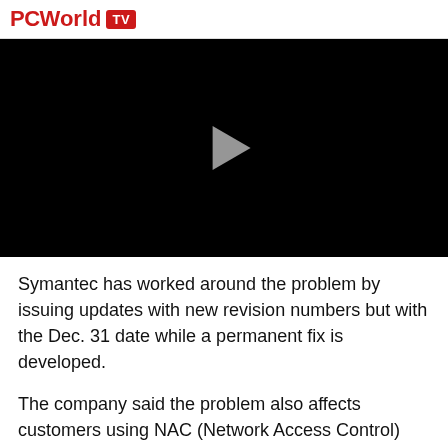PCWorld TV
[Figure (screenshot): Black video player with a play button triangle in the center]
Symantec has worked around the problem by issuing updates with new revision numbers but with the Dec. 31 date while a permanent fix is developed.
The company said the problem also affects customers using NAC (Network Access Control)